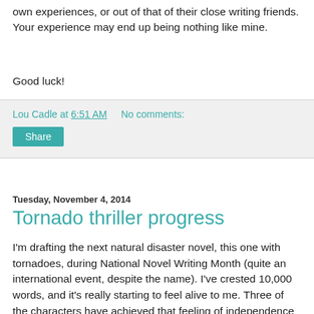own experiences, or out of that of their close writing friends. Your experience may end up being nothing like mine.
Good luck!
Lou Cadle at 6:51 AM    No comments:
Share
Tuesday, November 4, 2014
Tornado thriller progress
I'm drafting the next natural disaster novel, this one with tornadoes, during National Novel Writing Month (quite an international event, despite the name). I've crested 10,000 words, and it's really starting to feel alive to me. Three of the characters have achieved that feeling of independence that writers know so well--they seem to write "their own" dialog. I know that, in reality, it's me doing the work, but the me who is me and the me who is them have become different people, with different personalities, different ways of speaking, and